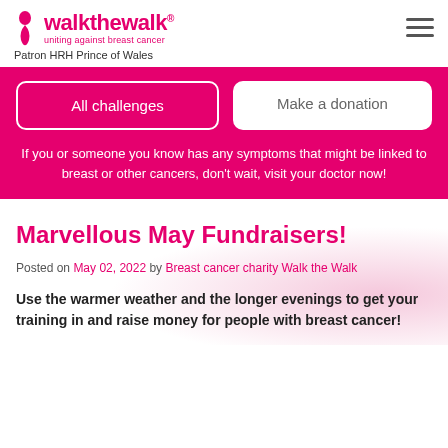walk the walk® uniting against breast cancer — Patron HRH Prince of Wales
All challenges
Make a donation
If you or someone you know has any symptoms that might be linked to breast or other cancers, don't wait, visit your doctor now!
Marvellous May Fundraisers!
Posted on May 02, 2022 by Breast cancer charity Walk the Walk
Use the warmer weather and the longer evenings to get your training in and raise money for people with breast cancer!